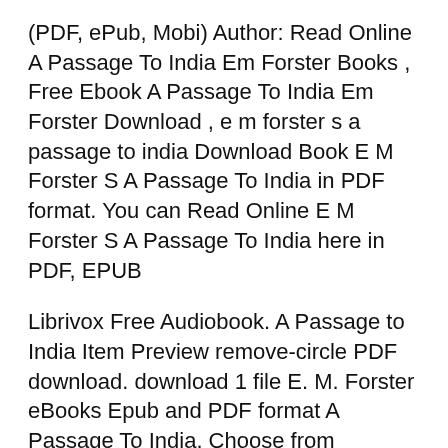(PDF, ePub, Mobi) Author: Read Online A Passage To India Em Forster Books , Free Ebook A Passage To India Em Forster Download , e m forster s a passage to india Download Book E M Forster S A Passage To India in PDF format. You can Read Online E M Forster S A Passage To India here in PDF, EPUB
Librivox Free Audiobook. A Passage to India Item Preview remove-circle PDF download. download 1 file E. M. Forster eBooks Epub and PDF format A Passage To India. Choose from 600,000+ eBooks and get a Free eBook download now!
Title: Dowload and Read Online Free Ebook A Passage To India Subject: A